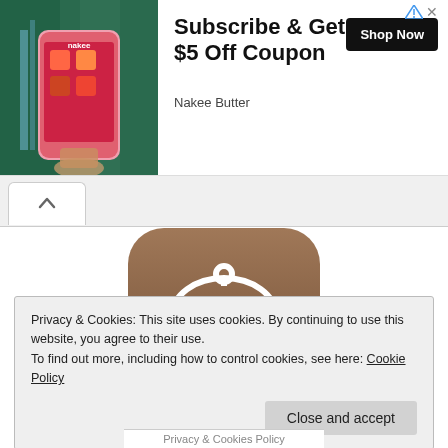[Figure (screenshot): Advertisement banner with photo of a phone showing Nakee Butter app, text 'Subscribe & Get $5 Off Coupon', 'Shop Now' button, and 'Nakee Butter' brand name]
[Figure (illustration): App icon with brown/chocolate rounded rectangle background and white serving cloche/hand icon]
Privacy & Cookies: This site uses cookies. By continuing to use this website, you agree to their use.
To find out more, including how to control cookies, see here: Cookie Policy
Close and accept